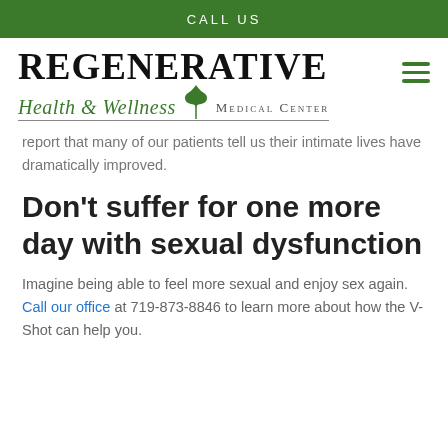CALL US
[Figure (logo): Regenerative Health & Wellness Medical Center logo with green leaf graphic]
report that many of our patients tell us their intimate lives have dramatically improved.
Don’t suffer for one more day with sexual dysfunction
Imagine being able to feel more sexual and enjoy sex again. Call our office at 719-873-8846 to learn more about how the V-Shot can help you.